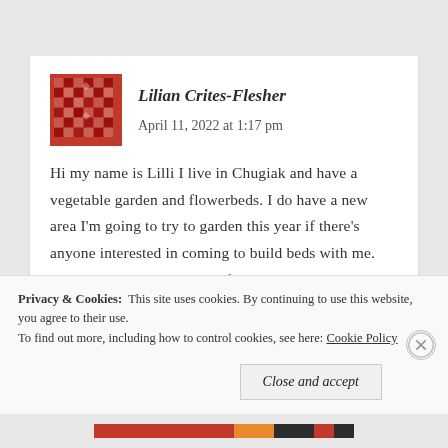[Figure (other): Red geometric quilt-pattern avatar icon for user Lilian Crites-Flesher]
Lilian Crites-Flesher   April 11, 2022 at 1:17 pm
Hi my name is Lilli I live in Chugiak and have a vegetable garden and flowerbeds. I do have a new area I'm going to try to garden this year if there's anyone interested in coming to build beds with me. Also available to volunteer for that building or composting although my back can't take a lot of heavy lifting.
Privacy & Cookies:  This site uses cookies. By continuing to use this website, you agree to their use.
To find out more, including how to control cookies, see here: Cookie Policy
Close and accept